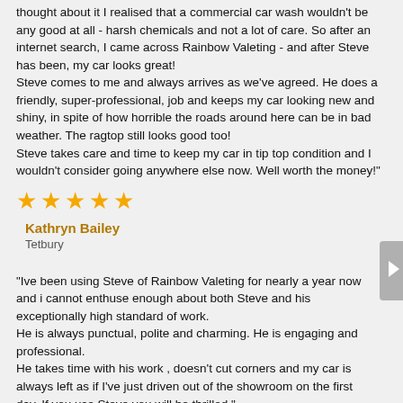thought about it I realised that a commercial car wash wouldn't be any good at all - harsh chemicals and not a lot of care. So after an internet search, I came across Rainbow Valeting - and after Steve has been, my car looks great!
Steve comes to me and always arrives as we've agreed. He does a friendly, super-professional, job and keeps my car looking new and shiny, in spite of how horrible the roads around here can be in bad weather. The ragtop still looks good too!
Steve takes care and time to keep my car in tip top condition and I wouldn't consider going anywhere else now. Well worth the money!"
[Figure (other): 5 gold stars rating]
Kathryn Bailey
Tetbury
"Ive been using Steve of Rainbow Valeting for nearly a year now and i cannot enthuse enough about both Steve and his exceptionally high standard of work.
He is always punctual, polite and charming. He is engaging and professional.
He takes time with his work , doesn't cut corners and my car is always left as if I've just driven out of the showroom on the first day. If you use Steve you will be thrilled."
[Figure (other): 5 gold stars rating]